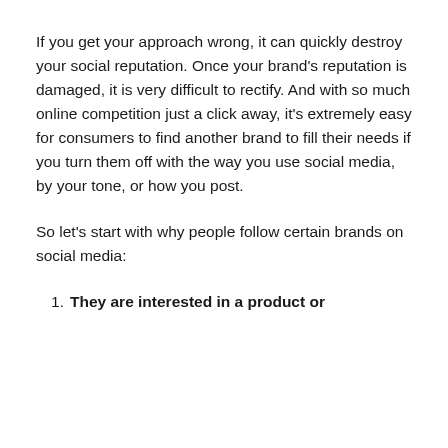If you get your approach wrong, it can quickly destroy your social reputation. Once your brand's reputation is damaged, it is very difficult to rectify. And with so much online competition just a click away, it's extremely easy for consumers to find another brand to fill their needs if you turn them off with the way you use social media, by your tone, or how you post.
So let's start with why people follow certain brands on social media:
They are interested in a product or